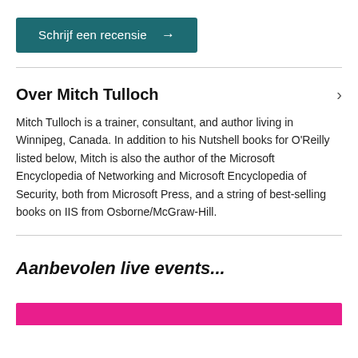Schrijf een recensie →
Over Mitch Tulloch
Mitch Tulloch is a trainer, consultant, and author living in Winnipeg, Canada. In addition to his Nutshell books for O'Reilly listed below, Mitch is also the author of the Microsoft Encyclopedia of Networking and Microsoft Encyclopedia of Security, both from Microsoft Press, and a string of best-selling books on IIS from Osborne/McGraw-Hill.
Aanbevolen live events...